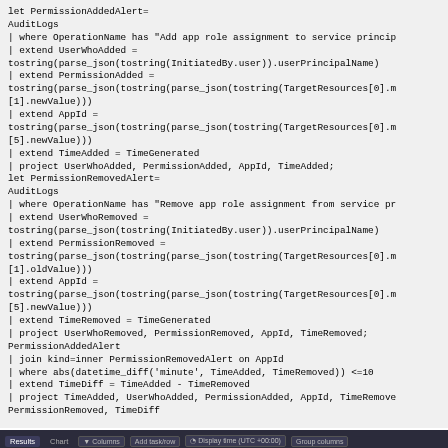[Figure (screenshot): Code block showing KQL/Kusto query for PermissionAddedAlert and PermissionRemovedAlert using AuditLogs, with join, where, extend, and project operations]
[Figure (screenshot): Dark-themed query results table showing Results and Chart tabs, with columns for TimeAdded, UserWhoAdded, PermissionAdded, AppId, TimeRemoved, UserWhoRemoved, PermissionRemoved, TimeDiff. One data row visible with values including Directory.Read.All and AppId.]